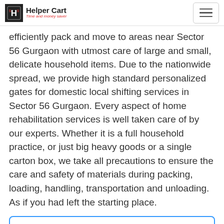Helper Cart — Time and money saver
efficiently pack and move to areas near Sector 56 Gurgaon with utmost care of large and small, delicate household items. Due to the nationwide spread, we provide high standard personalized gates for domestic local shifting services in Sector 56 Gurgaon. Every aspect of home rehabilitation services is well taken care of by our experts. Whether it is a full household practice, or just big heavy goods or a single carton box, we take all precautions to ensure the care and safety of materials during packing, loading, handling, transportation and unloading. As if you had left the starting place.
Packing and Unpacking Services in Sector 56 Gurgaon,